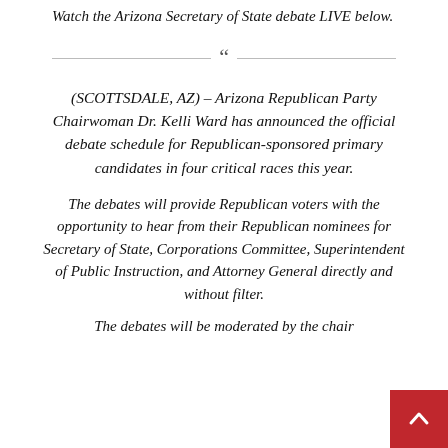Watch the Arizona Secretary of State debate LIVE below.
(SCOTTSDALE, AZ) – Arizona Republican Party Chairwoman Dr. Kelli Ward has announced the official debate schedule for Republican-sponsored primary candidates in four critical races this year.
The debates will provide Republican voters with the opportunity to hear from their Republican nominees for Secretary of State, Corporations Committee, Superintendent of Public Instruction, and Attorney General directly and without filter.
The debates will be moderated by the chair